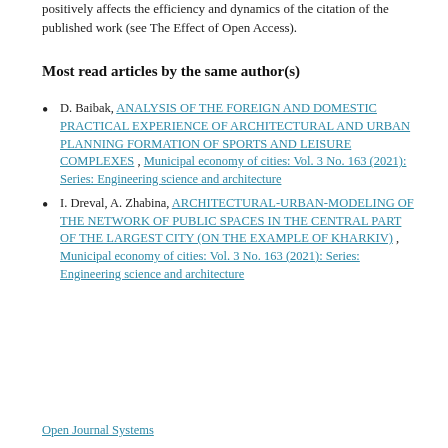positively affects the efficiency and dynamics of the citation of the published work (see The Effect of Open Access).
Most read articles by the same author(s)
D. Baibak, ANALYSIS OF THE FOREIGN AND DOMESTIC PRACTICAL EXPERIENCE OF ARCHITECTURAL AND URBAN PLANNING FORMATION OF SPORTS AND LEISURE COMPLEXES , Municipal economy of cities: Vol. 3 No. 163 (2021): Series: Engineering science and architecture
I. Dreval, A. Zhabina, ARCHITECTURAL-URBAN-MODELING OF THE NETWORK OF PUBLIC SPACES IN THE CENTRAL PART OF THE LARGEST CITY (ON THE EXAMPLE OF KHARKIV) , Municipal economy of cities: Vol. 3 No. 163 (2021): Series: Engineering science and architecture
Open Journal Systems